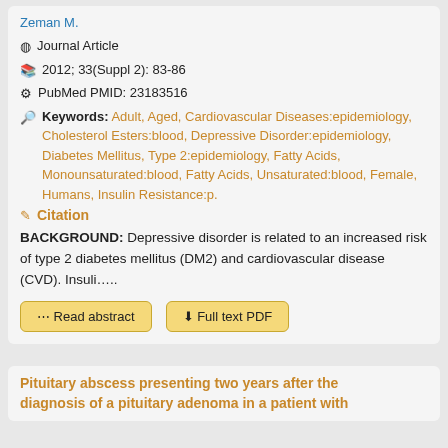Yurena T, Yoenu M, Jiun N, Frizbur Z, Muessen J, Zun A, Zeman M.
Journal Article
2012; 33(Suppl 2): 83-86
PubMed PMID: 23183516
Keywords: Adult, Aged, Cardiovascular Diseases:epidemiology, Cholesterol Esters:blood, Depressive Disorder:epidemiology, Diabetes Mellitus, Type 2:epidemiology, Fatty Acids, Monounsaturated:blood, Fatty Acids, Unsaturated:blood, Female, Humans, Insulin Resistance:p.
Citation
BACKGROUND: Depressive disorder is related to an increased risk of type 2 diabetes mellitus (DM2) and cardiovascular disease (CVD). Insuli…..
Read abstract | Full text PDF
Pituitary abscess presenting two years after the diagnosis of a pituitary adenoma in a patient with...